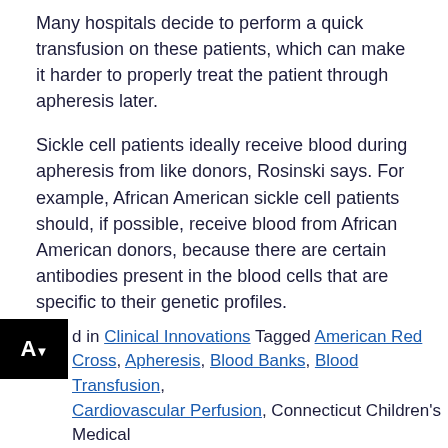Many hospitals decide to perform a quick transfusion on these patients, which can make it harder to properly treat the patient through apheresis later.
Sickle cell patients ideally receive blood during apheresis from like donors, Rosinski says. For example, African American sickle cell patients should, if possible, receive blood from African American donors, because there are certain antibodies present in the blood cells that are specific to their genetic profiles.
The card indicates where the patient is being treated and provides contact information for the UConn and Connecticut Children's programs and blood banks so doctors can confirm proper next steps.
d in Clinical Innovations Tagged American Red Cross, Apheresis, Blood Banks, Blood Transfusion, Cardiovascular Perfusion, Connecticut Children's Medical